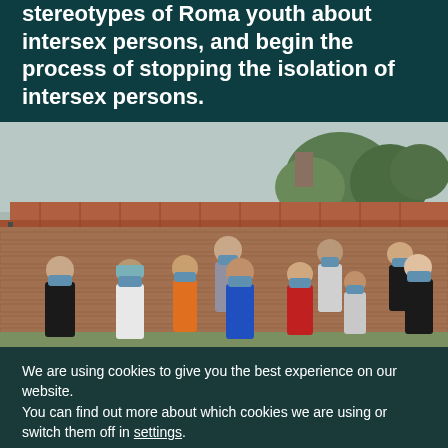stereotypes of Roma youth about intersex persons, and begin the process of stopping the isolation of intersex persons.
[Figure (photo): Group of approximately 10 people wearing blue face masks standing in front of a brick wall and building with terracotta roof tiles, with trees visible in the background. People are wearing various colored shirts including black, white, orange, blue, red, and gray.]
We are using cookies to give you the best experience on our website.
You can find out more about which cookies we are using or switch them off in settings.